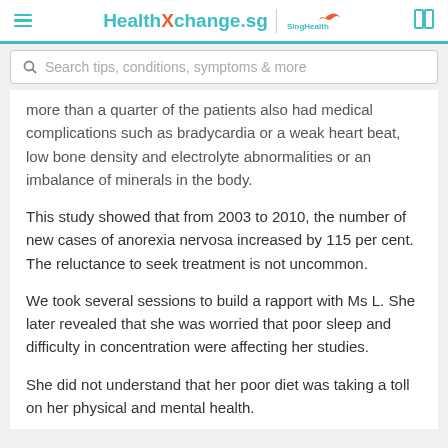HealthXchange.sg | SingHealth
Search tips, conditions, symptoms & more
more than a quarter of the patients also had medical complications such as bradycardia or a weak heart beat, low bone density and electrolyte abnormalities or an imbalance of minerals in the body.
This study showed that from 2003 to 2010, the number of new cases of anorexia nervosa increased by 115 per cent. The reluctance to seek treatment is not uncommon.
We took several sessions to build a rapport with Ms L. She later revealed that she was worried that poor sleep and difficulty in concentration were affecting her studies.
She did not understand that her poor diet was taking a toll on her physical and mental health.